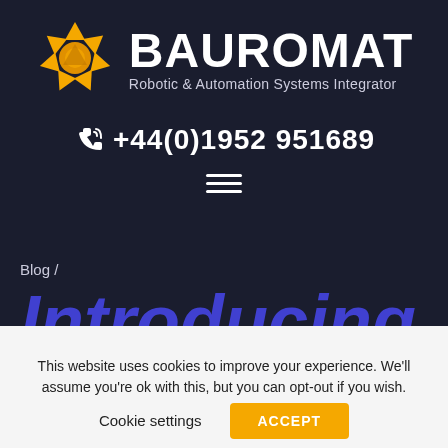[Figure (logo): Bauromat logo: orange geometric polygon/gear-like shape on dark background]
BAUROMAT
Robotic & Automation Systems Integrator
+44(0)1952 951689
[Figure (other): Hamburger menu icon (three horizontal white lines)]
Blog /
Introducing
This website uses cookies to improve your experience. We'll assume you're ok with this, but you can opt-out if you wish.
Cookie settings
ACCEPT